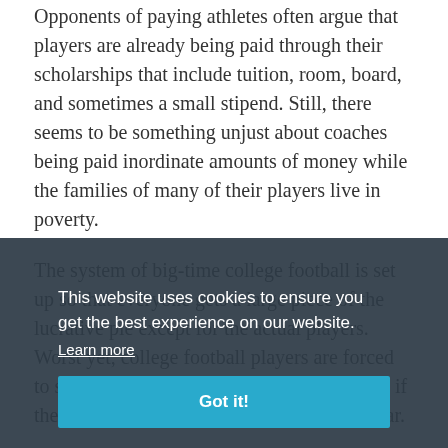Opponents of paying athletes often argue that players are already being paid through their scholarships that include tuition, room, board, and sometimes a small stipend. Still, there seems to be something unjust about coaches being paid inordinate amounts of money while the families of many of their players live in poverty.
The system of big-time college football is set up so that everyone gets a large piece of the lucrative pie except for the actual players. Worst yet, college football players are forced to stay at the institution for three years, even if they have the ability to turn pro after one year.
Former Louisiana State University running
This website uses cookies to ensure you get the best experience on our website. Learn more Got it!